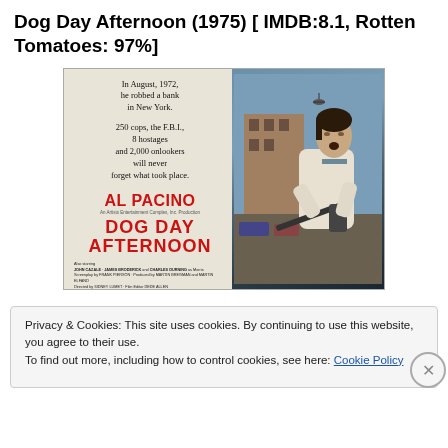Dog Day Afternoon (1975) [ IMDB:8.1, Rotten Tomatoes: 97%]
[Figure (photo): Movie poster for Dog Day Afternoon (1975) featuring Al Pacino. Left side has cream background with text taglines and red title. Right side shows a photo of Al Pacino holding a gun with a street/city scene behind him.]
Privacy & Cookies: This site uses cookies. By continuing to use this website, you agree to their use.
To find out more, including how to control cookies, see here: Cookie Policy
Close and accept